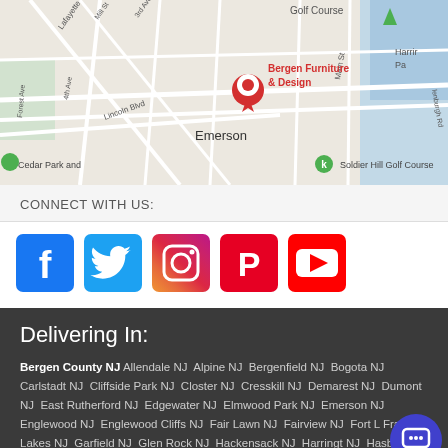[Figure (map): Google Maps screenshot showing Bergen Furniture & Design location in Emerson, NJ area, with streets including Mill St, 3rd Ave, Lafayette, Forest Ave, 4th Ave, Lincoln Blvd, Old Hook Rd, Main St. Nearby landmarks: Golf Course, Emerson Woods, Soldier Hill Golf Course, Cedar Park. Red location pin marks Bergen Furniture & Design.]
CONNECT WITH US:
[Figure (infographic): Row of five social media icons: Facebook (blue), Twitter (blue bird), Instagram (gradient), Pinterest (red), YouTube (red play button)]
Delivering In:
Bergen County NJ Allendale NJ Alpine NJ Bergenfield NJ Bogota NJ Carlstadt NJ Cliffside Park NJ Closter NJ Cresskill NJ Demarest NJ Dumont NJ East Rutherford NJ Edgewater NJ Elmwood Park NJ Emerson NJ Englewood NJ Englewood Cliffs NJ Fair Lawn NJ Fairview NJ Fort L Franklin Lakes NJ Garfield NJ Glen Rock NJ Hackensack NJ Harringt NJ Hasbrouck Heights NJ Haworth NJ Hillsdale NJ Ho Ho Kus NJ Leonia NJ